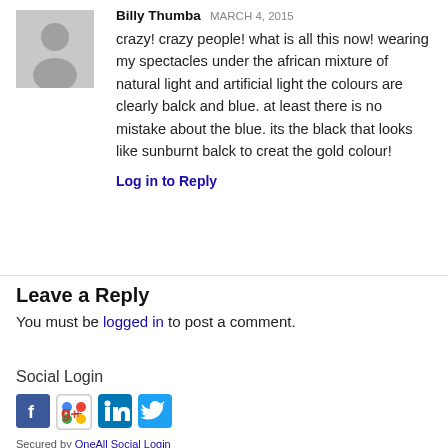[Figure (photo): Gray placeholder avatar silhouette icon]
Billy Thumba MARCH 4, 2015
crazy! crazy people! what is all this now! wearing my spectacles under the african mixture of natural light and artificial light the colours are clearly balck and blue. at least there is no mistake about the blue. its the black that looks like sunburnt balck to creat the gold colour!
Log in to Reply
Leave a Reply
You must be logged in to post a comment.
Social Login
[Figure (logo): Social login icons: Facebook, Google+, LinkedIn, Twitter]
Secured by OneAll Social Login